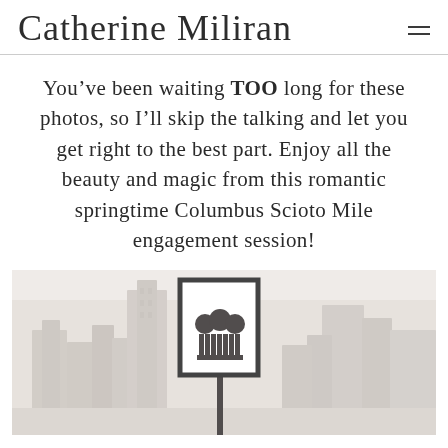Catherine Miliran
You’ve been waiting TOO long for these photos, so I’ll skip the talking and let you get right to the best part. Enjoy all the beauty and magic from this romantic springtime Columbus Scioto Mile engagement session!
[Figure (photo): A street-level photo showing a Scioto Mile park sign in the foreground with Columbus city buildings blurred in the background.]